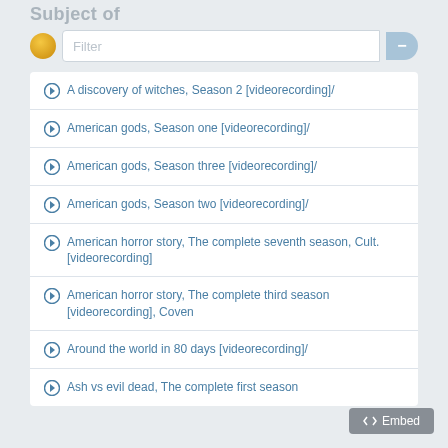Subject of
A discovery of witches, Season 2 [videorecording]/
American gods, Season one [videorecording]/
American gods, Season three [videorecording]/
American gods, Season two [videorecording]/
American horror story, The complete seventh season, Cult. [videorecording]
American horror story, The complete third season [videorecording], Coven
Around the world in 80 days [videorecording]/
Ash vs evil dead, The complete first season